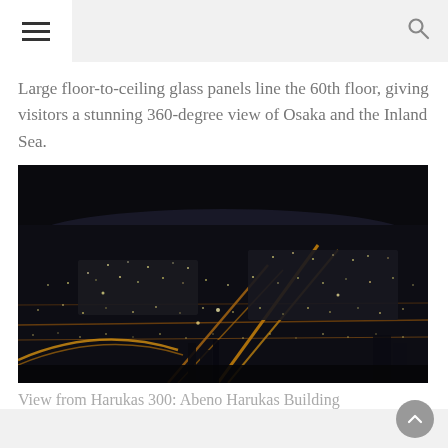Large floor-to-ceiling glass panels line the 60th floor, giving visitors a stunning 360-degree view of Osaka and the Inland Sea.
[Figure (photo): Night aerial view of Osaka city from the top of Harukas 300 observation deck, showing glowing street lights and city grid stretching to the horizon.]
View from Harukas 300: Abeno Harukas Building